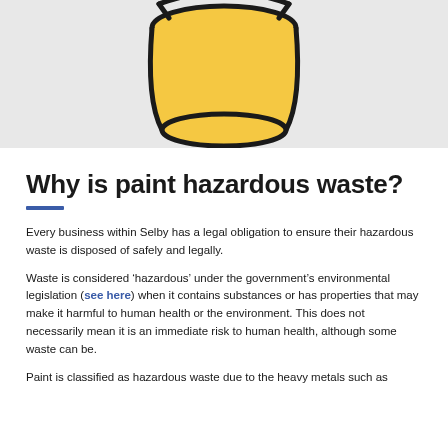[Figure (illustration): Partial view of a yellow paint bucket illustration with black outline on a light grey background, cropped at top.]
Why is paint hazardous waste?
Every business within Selby has a legal obligation to ensure their hazardous waste is disposed of safely and legally.
Waste is considered ‘hazardous’ under the government’s environmental legislation (see here) when it contains substances or has properties that may make it harmful to human health or the environment. This does not necessarily mean it is an immediate risk to human health, although some waste can be.
Paint is classified as hazardous waste due to the heavy metals such as